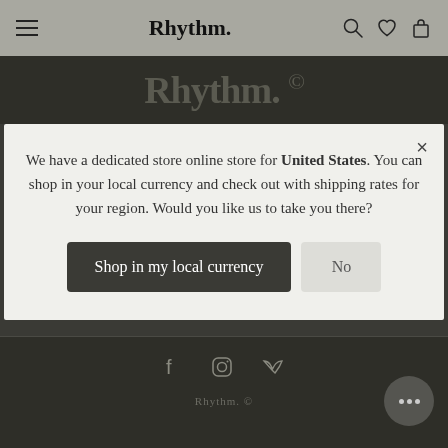Rhythm. [nav bar with hamburger, search, heart, bag icons]
[Figure (logo): Rhythm. © watermark logo in dark banner]
We have a dedicated store online store for United States. You can shop in your local currency and check out with shipping rates for your region. Would you like us to take you there?
Shop in my local currency
No
Social icons: Facebook, Instagram, Vimeo. Footer wordmark.